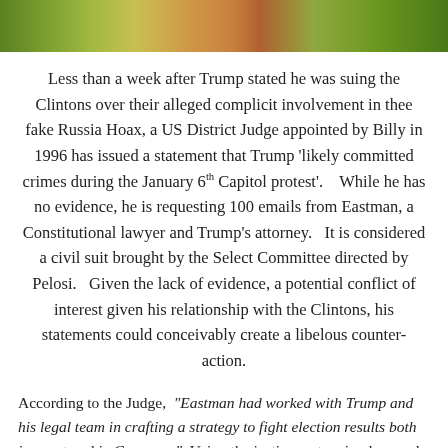[Figure (photo): Partial photo strip at top of page showing green and orange/red colored objects (appears to be food items or produce)]
Less than a week after Trump stated he was suing the Clintons over their alleged complicit involvement in thee fake Russia Hoax, a US District Judge appointed by Billy in 1996 has issued a statement that Trump 'likely committed crimes during the January 6th Capitol protest'.    While he has no evidence, he is requesting 100 emails from Eastman, a Constitutional lawyer and Trump's attorney.   It is considered a civil suit brought by the Select Committee directed by Pelosi.   Given the lack of evidence, a potential conflict of interest given his relationship with the Clintons, his statements could conceivably create a libelous counter-action.
According to the Judge, “Eastman had worked with Trump and his legal team in crafting a strategy to fight election results both in court and in Congress.”  Using the justice system in place and the Constitution does NOT qualify as an attempted coup. It does qualify as using legal procedures available.   Evidence that has